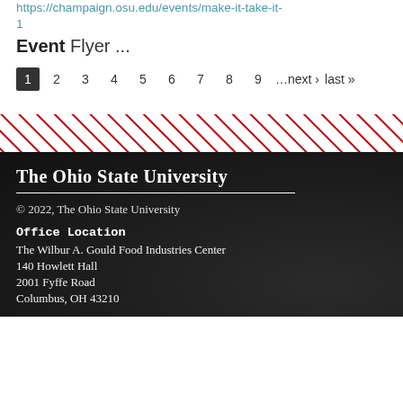https://champaign.osu.edu/events/make-it-take-it-1
Event Flyer ...
1 2 3 4 5 6 7 8 9 …next › last »
[Figure (other): Red and white diagonal stripe decorative divider band]
The Ohio State University
© 2022, The Ohio State University
Office Location
The Wilbur A. Gould Food Industries Center
140 Howlett Hall
2001 Fyffe Road
Columbus, OH 43210